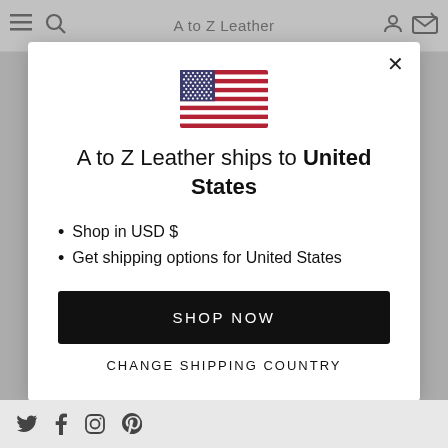A to Z Leather
[Figure (illustration): US flag icon centered in modal]
A to Z Leather ships to United States
Shop in USD $
Get shipping options for United States
SHOP NOW
CHANGE SHIPPING COUNTRY
Twitter Facebook Instagram Pinterest